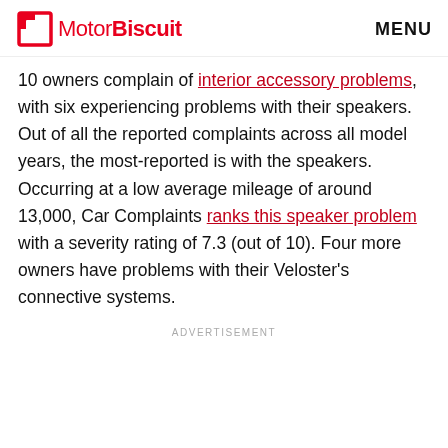MotorBiscuit | MENU
10 owners complain of interior accessory problems, with six experiencing problems with their speakers. Out of all the reported complaints across all model years, the most-reported is with the speakers. Occurring at a low average mileage of around 13,000, Car Complaints ranks this speaker problem with a severity rating of 7.3 (out of 10). Four more owners have problems with their Veloster's connective systems.
ADVERTISEMENT